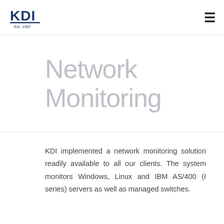KDI Est. 1987
Network Monitoring
KDI implemented a network monitoring solution readily available to all our clients. The system monitors Windows, Linux and IBM AS/400 (I series) servers as well as managed switches.